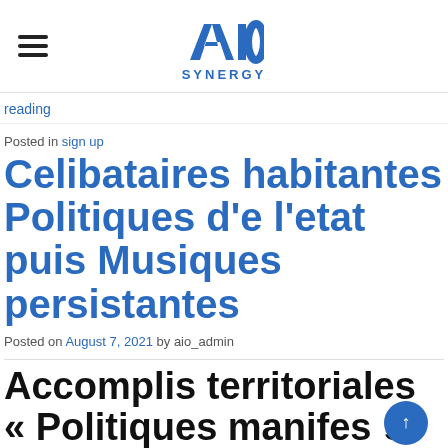AIO SYNERGY
reading
Posted in sign up
Celibataires habitantes Politiques d'e l'etat puis Musiques persistantes
Posted on August 7, 2021 by aio_admin
Accomplis territoriales « Politiques manifestes alors Musiques